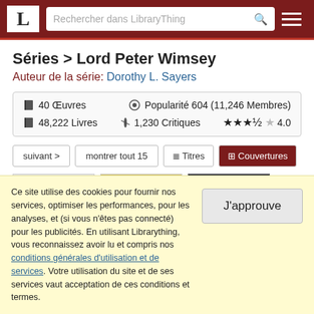L | Rechercher dans LibraryThing
Séries > Lord Peter Wimsey
Auteur de la série: Dorothy L. Sayers
40 Œuvres | Popularité 604 (11,246 Membres) | 48,222 Livres | 1,230 Critiques | ★★★½☆ 4.0
suivant > | montrer tout 15 | ≡ Titres | ⊞ Couvertures
[Figure (screenshot): Three book cover thumbnails for Lord Peter Wimsey series: two showing 'Dorothy L.' mystery covers with MYSTERY label, one dark cover featuring a figure in a tuxedo.]
Ce site utilise des cookies pour fournir nos services, optimiser les performances, pour les analyses, et (si vous n'êtes pas connecté) pour les publicités. En utilisant Librarything, vous reconnaissez avoir lu et compris nos conditions générales d'utilisation et de services. Votre utilisation du site et de ses services vaut acceptation de ces conditions et termes.
J'approuve